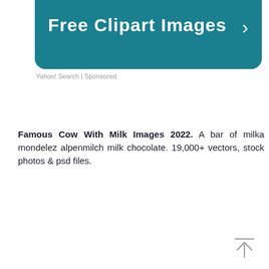[Figure (screenshot): Teal/dark cyan banner with white text 'Free Clipart Images' and a right arrow chevron on the right side, partially cropped at the top.]
Yahoo! Search | Sponsored
Famous Cow With Milk Images 2022. A bar of milka mondelez alpenmilch milk chocolate. 19,000+ vectors, stock photos & psd files.